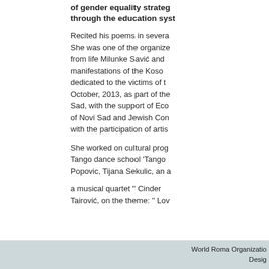of gender equality strategies through the education system
Recited his poems in several languages. She was one of the organizers from life Milunke Savić and manifestations of the Kosovo dedicated to the victims of t October, 2013, as part of the Sad, with the support of Eco of Novi Sad and Jewish Con with the participation of artis
She worked on cultural prog Tango dance school 'Tango Popovic, Tijana Sekulic, an a
a musical quartet '' Cinder Tairović, on the theme: '' Lov
World Roma Organization
Desig